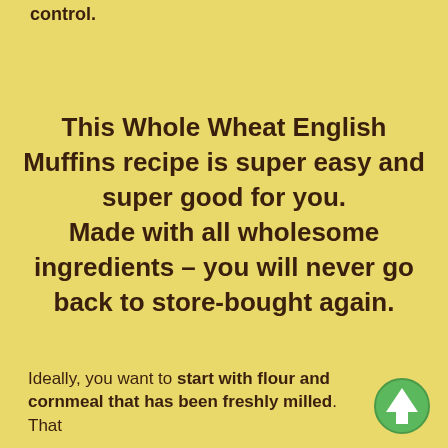control.
This Whole Wheat English Muffins recipe is super easy and super good for you. Made with all wholesome ingredients – you will never go back to store-bought again.
Ideally, you want to start with flour and cornmeal that has been freshly milled. That
[Figure (illustration): Green circular button with white upward arrow icon]